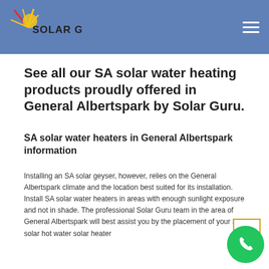Solar Guru
See all our SA solar water heating products proudly offered in General Albertspark by Solar Guru.
SA solar water heaters in General Albertspark information
Installing an SA solar geyser, however, relies on the General Albertspark climate and the location best suited for its installation. Install SA solar water heaters in areas with enough sunlight exposure and not in shade. The professional Solar Guru team in the area of General Albertspark will best assist you by the placement of your SA solar hot water solar heater